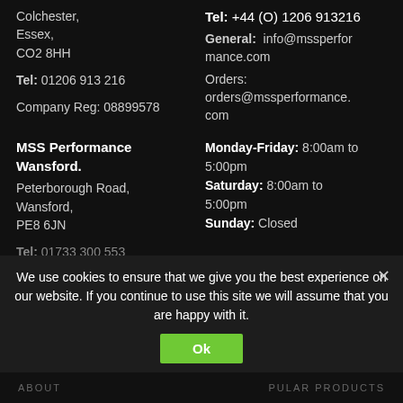Colchester,
Essex,
CO2 8HH
Tel: 01206 913 216
Company Reg: 08899578
MSS Performance Wansford.
Peterborough Road,
Wansford,
PE8 6JN
Tel: 01733 300 553
Tel: +44 (O) 1206 913216
General: info@mssperformance.com
Orders: orders@mssperformance.com
Monday-Friday: 8:00am to 5:00pm
Saturday: 8:00am to 5:00pm
Sunday: Closed
We use cookies to ensure that we give you the best experience on our website. If you continue to use this site we will assume that you are happy with it.
ABOUT   POPULAR PRODUCTS